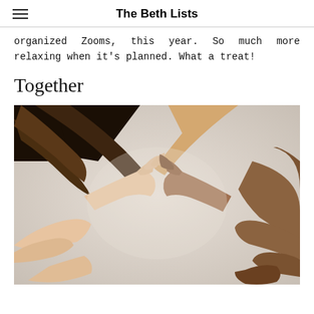The Beth Lists
organized Zooms, this year. So much more relaxing when it's planned. What a treat!
Together
[Figure (photo): Multiple hands of different skin tones arranged together forming a heart shape against a light background]